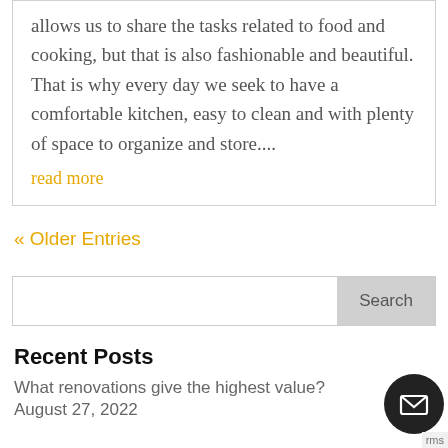allows us to share the tasks related to food and cooking, but that is also fashionable and beautiful. That is why every day we seek to have a comfortable kitchen, easy to clean and with plenty of space to organize and store....
read more
« Older Entries
Search
Recent Posts
What renovations give the highest value?
August 27, 2022